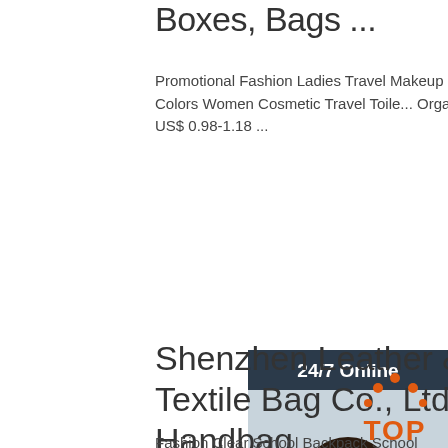Boxes, Bags ...
Promotional Fashion Ladies Travel Makeup Bag Cosmetic Bag Manufactory, Mini Candy Colors Women Cosmetic Travel Toile... Organizer Pouch Bag with Ha... US$ 0.98-1.18 ...
[Figure (other): Orange 'Get Price' button]
[Figure (other): 24/7 Online chat widget with customer service representative photo and 'Click here for free chat!' text and orange QUOTATION button]
Shenzhen Leather & Textile Bag Co., Ltd. - Handbag,
Fashion Clear School Backpack School Day Pack with Laptop
[Figure (logo): Orange TOP badge/logo]